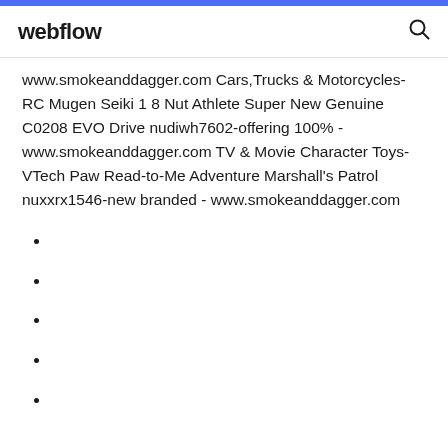webflow
www.smokeanddagger.com Cars,Trucks & Motorcycles-RC Mugen Seiki 1 8 Nut Athlete Super New Genuine C0208 EVO Drive nudiwh7602-offering 100% - www.smokeanddagger.com TV & Movie Character Toys-VTech Paw Read-to-Me Adventure Marshall's Patrol nuxxrx1546-new branded - www.smokeanddagger.com